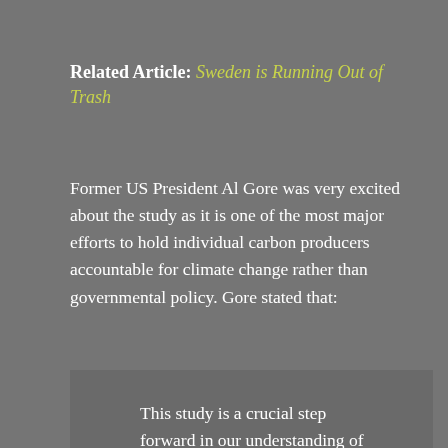Related Article: Sweden is Running Out of Trash
Former US President Al Gore was very excited about the study as it is one of the most major efforts to hold individual carbon producers accountable for climate change rather than governmental policy. Gore stated that:
This study is a crucial step forward in our understanding of the evolution of the climate crisis. The public and private sectors alike must do what is necessary to stop global warming. Those who are historically responsible for polluting our atmosphere have a clear obligation to be part of the solution.